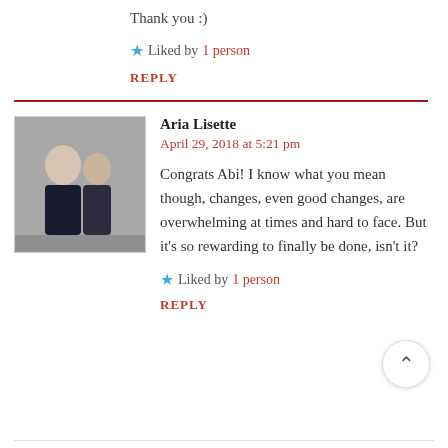Thank you :)
Liked by 1 person
REPLY
Aria Lisette
April 29, 2018 at 5:21 pm
Congrats Abi! I know what you mean though, changes, even good changes, are overwhelming at times and hard to face. But it's so rewarding to finally be done, isn't it?
Liked by 1 person
REPLY